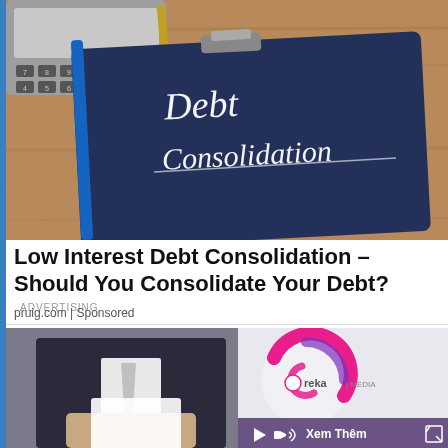[Figure (photo): Photo of a dark clipboard with 'Debt Consolidation' written on it in white cursive text, with a calculator and pen on a wooden desk background.]
Low Interest Debt Consolidation – Should You Consolidate Your Debt? ADVERTISING
pruig.com | Sponsored
[Figure (photo): Photo of a businessman in a dark suit, partially visible, with a white shirt and tie. On the right side an Ureka Media video ad overlay is visible with a logo, play/speaker controls, 'Xem Thêm' text, and a fullscreen button.]